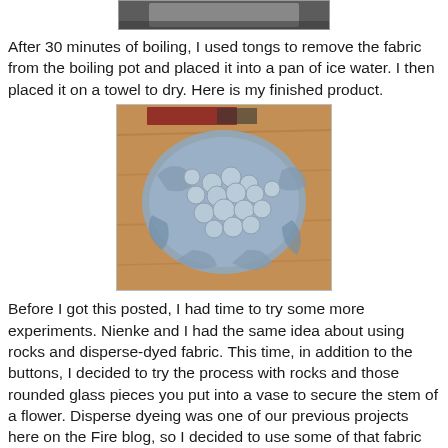[Figure (photo): Top portion of a boiling pot photo, partially visible at top of page]
After 30 minutes of boiling, I used tongs to remove the fabric from the boiling pot and placed it into a pan of ice water. I then placed it on a towel to dry. Here is my finished product.
[Figure (photo): Photo of a gray/blue satin fabric piece lying on a wooden surface, with circular button impressions creating a decorative flower-like pattern across the fabric.]
Before I got this posted, I had time to try some more experiments. Nienke and I had the same idea about using rocks and disperse-dyed fabric. This time, in addition to the buttons, I decided to try the process with rocks and those rounded glass pieces you put into a vase to secure the stem of a flower. Disperse dyeing was one of our previous projects here on the Fire blog, so I decided to use some of that fabric for this project. Here are the pieces before the process.